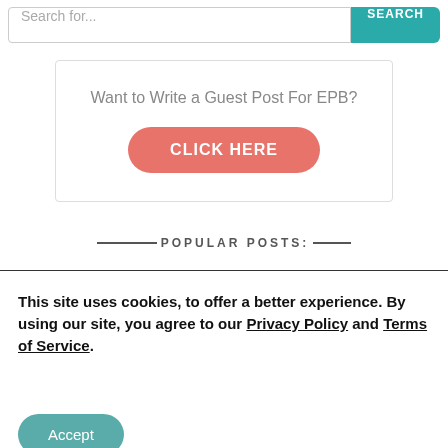[Figure (screenshot): Search bar with placeholder 'Search for...' and a teal SEARCH button]
[Figure (screenshot): Call-to-action box: 'Want to Write a Guest Post For EPB?' with a coral CLICK HERE button]
POPULAR POSTS:
This site uses cookies, to offer a better experience. By using our site, you agree to our Privacy Policy and Terms of Service.
[Figure (screenshot): Accept button (teal rounded rectangle)]